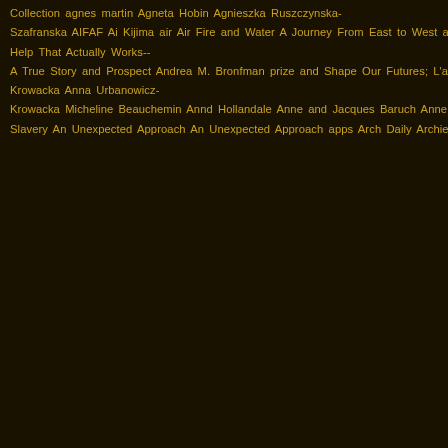Collection agnes martin Agneta Hobin Agnieszka Ruszczynska-Szafranska AIFAF Ai Kijima air Air Fire and Water A Journey From East to West and Back by Janice P. Nimura Akiko Busch Albers Albers Foundation Aldrich Museum; Ports of Cause; Westport Arts Center; ASID; Surface Design Association Aldrich Museum of Contemporary Art Aldrich Museum of Contemporary Art Aleksandra Stoyanov Alexander Calder; Pierre Daquin Alexander Lichtveld Alexandra da Cunha Alexsandra Stoyanov Allies for Art All the World's Futures: 56 International Art Exhibition Alphonse Mattia Al Yankovic Ambarvalia amber American Craft Magazine American Express; Small Business Saturday American Flag American International Fine Art Fair American Tapestry Biennial Ana Lisa Hedstrom Ana Mendieta An autobiographical archive reflecting 30 years of work Anda Klancic Anderson Abruzzo International Balloon Museum Anderson Ranch Arts Center and Found Self-Help That Actually Works--A True Story and Prospect Andrea M. Bronfman prize and Shape Our Futures; L'art du fil and Vegetables Andy Warhol Ane Hendricksen; Grethe Sorensen ane henriksen angora An Indigenous Peoples' History of the United States Anna Sledziewska Anna Urbanowicz-Krowacka Anna Urbanowicz-Krowacka Micheline Beauchemin Annd Hollandale Anne and Jacques Baruch Anne Leone Anne Truitt Annette Bellamy Anne Wilson Anni Albers anni albers artextstyle Anni Albers' On Weaving Anni and Josef Albers Anniversary Anniversary Antartica Anti-Slavery An Unexpected Approach An Unexpected Approach apps Arch Daily Archie Brennan Architect Architectural Textiles Architectural weaving Architecture Architecture Are WE